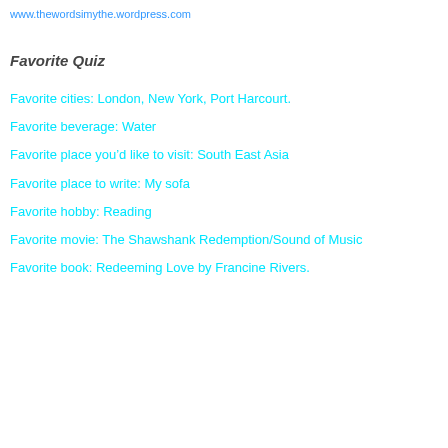www.thewordsimythe.wordpress.com
Favorite Quiz
Favorite cities: London, New York, Port Harcourt.
Favorite beverage: Water
Favorite place you’d like to visit: South East Asia
Favorite place to write: My sofa
Favorite hobby: Reading
Favorite movie: The Shawshank Redemption/Sound of Music
Favorite book: Redeeming Love by Francine Rivers.